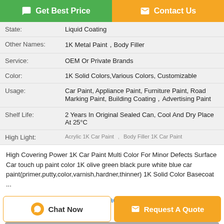[Figure (other): Get Best Price and Contact Us buttons at top]
| State: | Liquid Coating |
| Other Names: | 1K Metal Paint，Body Filler |
| Service: | OEM Or Private Brands |
| Color: | 1K Solid Colors,Various Colors, Customizable |
| Usage: | Car Paint, Appliance Paint, Furniture Paint, Road Marking Paint, Building Coating，Advertising Paint |
| Shelf Life: | 2 Years In Original Sealed Can, Cool And Dry Place At 25°C |
| High Light: | Acrylic 1K Car Paint , Body Filler 1K Car Paint |
High Covering Power 1K Car Paint Multi Color For Minor Defects Surface Car touch up paint color 1K olive green black pure white blue car paint(primer,putty,color,varnish,hardner,thinner) 1K Solid Color Basecoat ...
Tags: 1k automotive paint , 1k acrylic car paint , 1k basecoat car paint
Product Description >
[Figure (other): Chat Now and Request A Quote buttons at bottom]